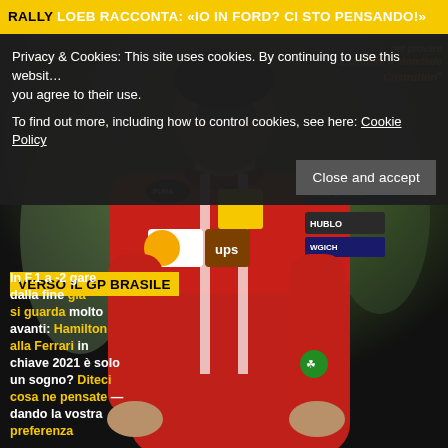RALLY LOEB RACCONTA: «IO IN FORD? CI STO PENSANDO!»
Privacy & Cookies: This site uses cookies. By continuing to use this website you agree to their use.
To find out more, including how to control cookies, see here: Cookie Policy
Close and accept
[Figure (photo): Ferrari F1 driver in red racing suit with Shell, UPS, Kaspersky, HUBLOT, PUMA branding walking in paddock]
per provare a vincere il Mondiale Costruttori
VERSO IL GP BRASILE
In F.1 a -2 gare dalla fine già si guarda molto avanti: Hamilton alla Ferrari in chiave 2021 è solo un sogno? Diteci cosa ne pensate dando la vostra preferenza